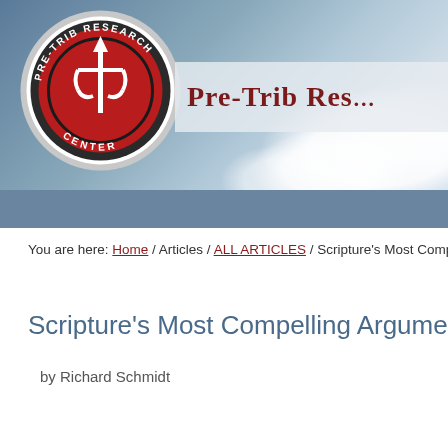[Figure (logo): Pre-Trib Research Center logo: circular badge with red background, trident/anchor symbol, white text reading PRE-TRIB RESEARCH CENTER around the border. Set against a sky/clouds background banner with the site name 'Pre-Trib Res...' in dark red serif font on a light band.]
You are here: Home / Articles / ALL ARTICLES / Scripture's Most Compelling...
Scripture's Most Compelling Argument for t...
by Richard Schmidt